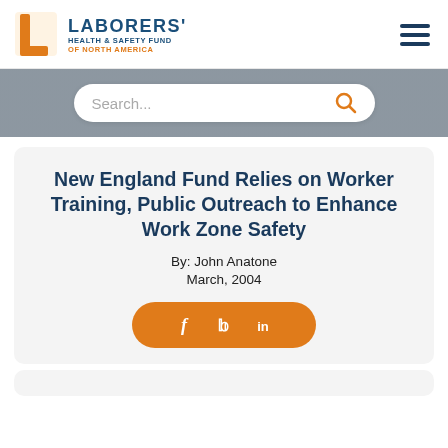[Figure (logo): Laborers' Health & Safety Fund of North America logo with orange L icon and dark blue text]
New England Fund Relies on Worker Training, Public Outreach to Enhance Work Zone Safety
By: John Anatone
March, 2004
[Figure (infographic): Orange rounded button with Facebook, Twitter, and LinkedIn share icons in white]